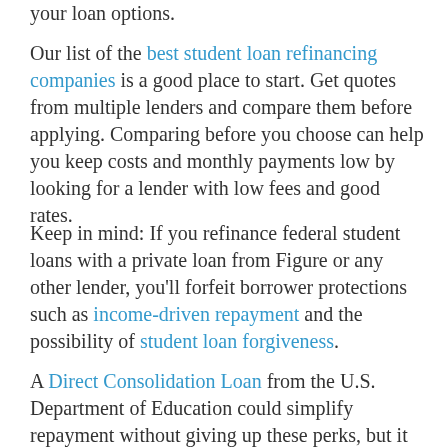your loan options.
Our list of the best student loan refinancing companies is a good place to start. Get quotes from multiple lenders and compare them before applying. Comparing before you choose can help you keep costs and monthly payments low by looking for a lender with low fees and good rates.
Keep in mind: If you refinance federal student loans with a private loan from Figure or any other lender, you'll forfeit borrower protections such as income-driven repayment and the possibility of student loan forgiveness.
A Direct Consolidation Loan from the U.S. Department of Education could simplify repayment without giving up these perks, but it won't help you if you have private student loans to consolidate.